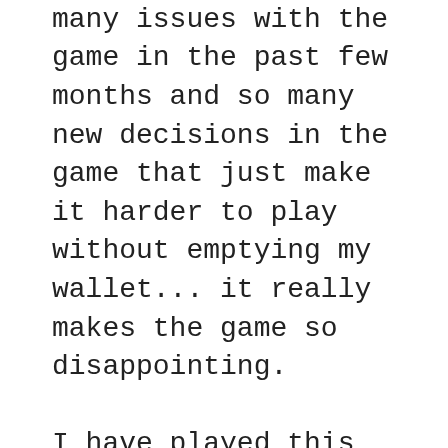There have been so many issues with the game in the past few months and so many new decisions in the game that just make it harder to play without emptying my wallet... it really makes the game so disappointing.
I have played this game OBSESSIVELY for the past few years; I've spent way too much money on it and played multiple times every single day. But now, I only log in daily for my squad. I'm not spending any more money unless something changes DRASTICALLY.
For reference, I've gotten really into a competitors game since losing interest in this one. They just had an event very similar to SYS that just ended. One day in they sent out a message in-game apologizing to everyone because it seemed that a small percentage of players weren't getting the option to play the event, and that they were looking into it. I personally had access to the event, so I kept playing. I wasn't able to reach the top prize, but did